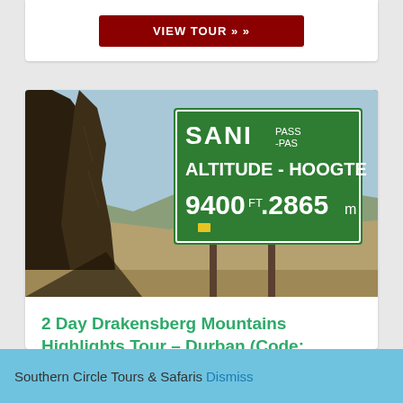[Figure (other): Dark red / maroon VIEW TOUR button at top of a card]
[Figure (photo): Photograph of Sani Pass altitude sign reading SANI PASS-PAS ALTITUDE-HOOGTE 9400 FT .2865m, with rocky mountain landscape and dramatic cliffs in background]
2 Day Drakensberg Mountains Highlights Tour – Durban (Code: SCDB)
Southern Circle Tours & Safaris Dismiss